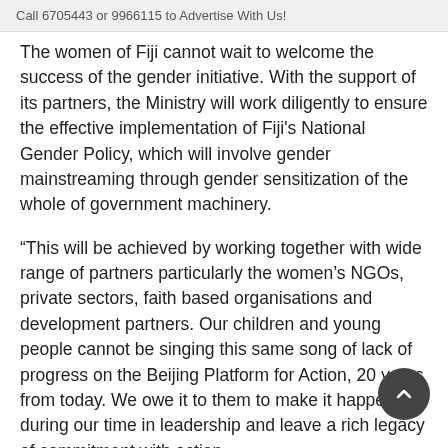Call 6705443 or 9966115 to Advertise With Us!
The women of Fiji cannot wait to welcome the success of the gender initiative. With the support of its partners, the Ministry will work diligently to ensure the effective implementation of Fiji's National Gender Policy, which will involve gender mainstreaming through gender sensitization of the whole of government machinery.
“This will be achieved by working together with wide range of partners particularly the women’s NGOs, private sectors, faith based organisations and development partners. Our children and young people cannot be singing this same song of lack of progress on the Beijing Platform for Action, 20 years from today. We owe it to them to make it happen during our time in leadership and leave a rich legacy of commitment with action.
“It is a strong mandate to enable us to work together to promote gender development. The Ministry acknowledges the international development partners for their continued support